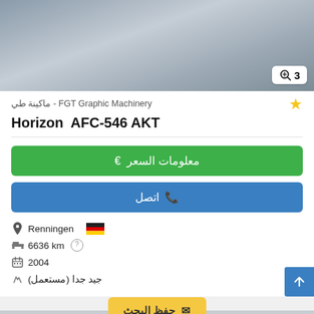[Figure (photo): Photo of printing/folding machine equipment in a warehouse or shop setting]
FGT Graphic Machinery - ماكينة طي
Horizon  AFC-546 AKT
معلومات السعر €
اتصل
Renningen 🇩🇪
6636 km
2004
جيد جدا (مستعمل)
حفظ البحث